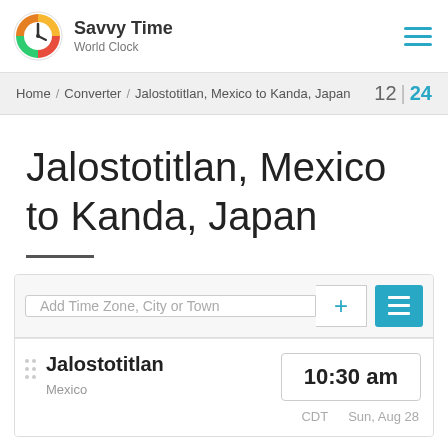Savvy Time World Clock
Home / Converter / Jalostotitlan, Mexico to Kanda, Japan  12 | 24
Jalostotitlan, Mexico to Kanda, Japan
Add Time Zone, City or Town
Jalostotitlan  10:30 am  Mexico  CDT  Sun, Aug 28